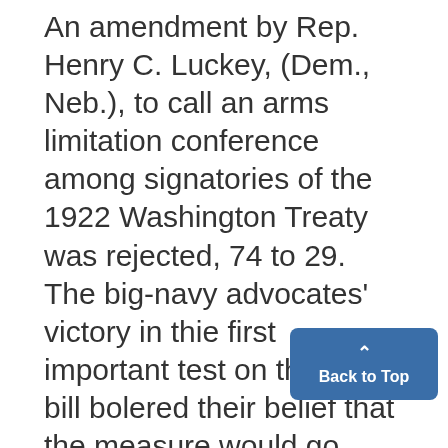An amendment by Rep. Henry C. Luckey, (Dem., Neb.), to call an arms limitation conference among signatories of the 1922 Washington Treaty was rejected, 74 to 29. The big-navy advocates' victory in thie first important test on the Navy bill bolered their belief that the measure would go through the House substantially unchanged. Secretary Hull warned peace-loving nations everywhere that th must work unceasingly for law order, lest a retreat in any quarter